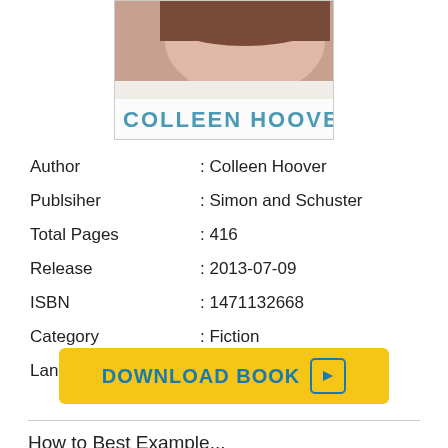[Figure (photo): Book cover image showing a woman's face resting on a surface with text 'COLLEEN HOOVER' in large teal/blue letters]
| Author | : Colleen Hoover |
| Publsiher | : Simon and Schuster |
| Total Pages | : 416 |
| Release | : 2013-07-09 |
| ISBN | : 1471132668 |
| Category | : Fiction |
| Language | : EN, FR, DE, ES & NL |
DOWNLOAD BOOK ▶
How to Best Example...